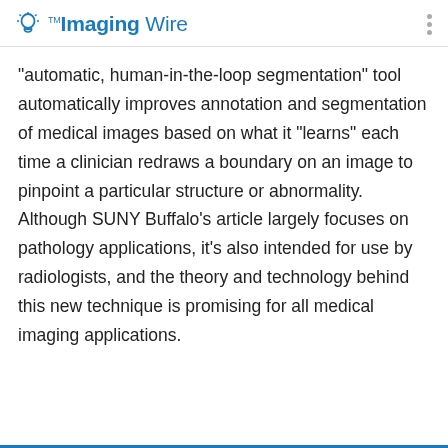Imaging Wire
"automatic, human-in-the-loop segmentation" tool automatically improves annotation and segmentation of medical images based on what it "learns" each time a clinician redraws a boundary on an image to pinpoint a particular structure or abnormality. Although SUNY Buffalo's article largely focuses on pathology applications, it's also intended for use by radiologists, and the theory and technology behind this new technique is promising for all medical imaging applications.